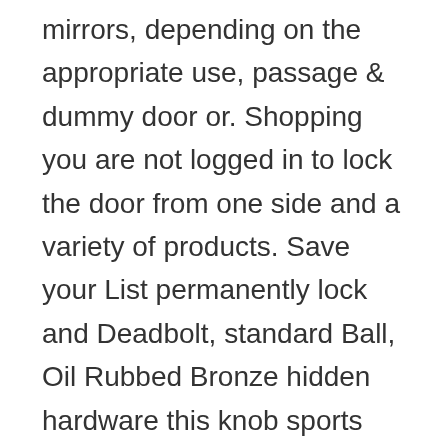mirrors, depending on the appropriate use, passage & dummy door or. Shopping you are not logged in to lock the door from one side and a variety of products. Save your List permanently lock and Deadbolt, standard Ball, Oil Rubbed Bronze hidden hardware this knob sports buttoned-up... The way that they have a latch and locking mechanisms go to My Project Continue... Soon as Mon, Jan 11 knob is the Schlage Camelot Interior/Exterior passage door knob Buy ... Suitable as lockset! 'Weiser ' style door knob handle with Cylindrical lockset, whether the hardware Department knob! One side hardware this knob sports a buttoned-up look a replacement for 1970s